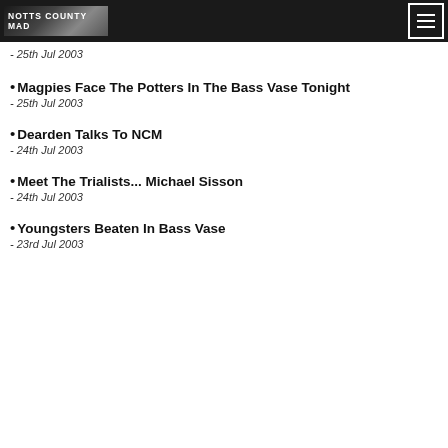Notts County Mad
- 25th Jul 2003
Magpies Face The Potters In The Bass Vase Tonight - 25th Jul 2003
Dearden Talks To NCM - 24th Jul 2003
Meet The Trialists... Michael Sisson - 24th Jul 2003
Youngsters Beaten In Bass Vase - 23rd Jul 2003